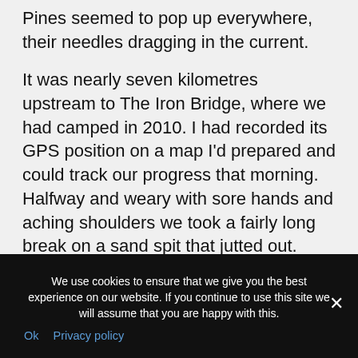Pines seemed to pop up everywhere, their needles dragging in the current.
It was nearly seven kilometres upstream to The Iron Bridge, where we had camped in 2010. I had recorded its GPS position on a map I'd prepared and could track our progress that morning. Halfway and weary with sore hands and aching shoulders we took a fairly long break on a sand spit that jutted out. Jude got out her sketch pad so I pushed through the shore bush and found easy walking flats under the forest of myrtles. Amazed by the collage made by its small fallen leaves, pure bliss set my soul free to soar like a wild creature, my fatigue soon forgotten.
We use cookies to ensure that we give you the best experience on our website. If you continue to use this site we will assume that you are happy with this. Ok  Privacy policy